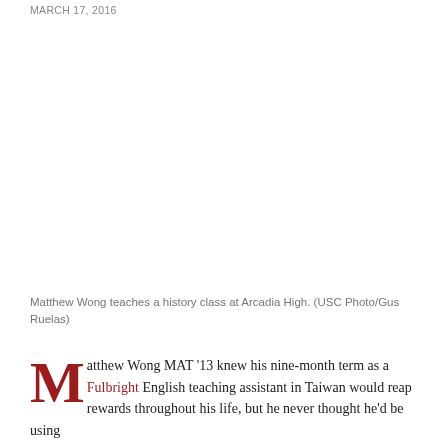MARCH 17, 2016
[Figure (photo): Matthew Wong teaches a history class at Arcadia High, photographed by Gus Ruelas for USC.]
Matthew Wong teaches a history class at Arcadia High. (USC Photo/Gus Ruelas)
Matthew Wong MAT '13 knew his nine-month term as a Fulbright English teaching assistant in Taiwan would reap rewards throughout his life, but he never thought he'd be using